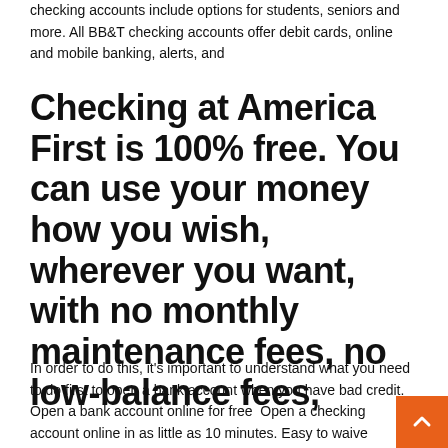checking accounts include options for students, seniors and more. All BB&T checking accounts offer debit cards, online and mobile banking, alerts, and
Checking at America First is 100% free. You can use your money how you wish, wherever you want, with no monthly maintenance fees, no low-balance fees,
In order to do this, it's important to understand what you need to do first to open a bank account when you have bad credit. Open a bank account online for free  Open a checking account online in as little as 10 minutes. Easy to waive monthly fees. Your best bet is to open an online checking account, as those